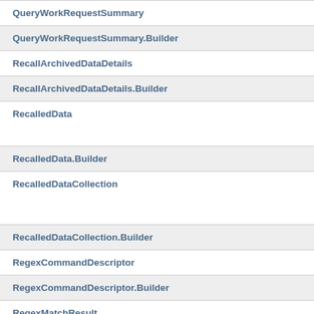QueryWorkRequestSummary
QueryWorkRequestSummary.Builder
RecallArchivedDataDetails
RecallArchivedDataDetails.Builder
RecalledData
RecalledData.Builder
RecalledDataCollection
RecalledDataCollection.Builder
RegexCommandDescriptor
RegexCommandDescriptor.Builder
RegexMatchResult